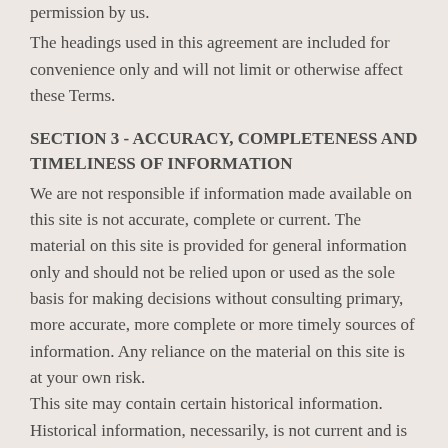permission by us.
The headings used in this agreement are included for convenience only and will not limit or otherwise affect these Terms.
SECTION 3 - ACCURACY, COMPLETENESS AND TIMELINESS OF INFORMATION
We are not responsible if information made available on this site is not accurate, complete or current. The material on this site is provided for general information only and should not be relied upon or used as the sole basis for making decisions without consulting primary, more accurate, more complete or more timely sources of information. Any reliance on the material on this site is at your own risk.
This site may contain certain historical information. Historical information, necessarily, is not current and is provided for your reference only. We reserve the right to modify the contents of this site at any time, but we have no obligation to update any information on our site. You agree that it is your responsibility to monitor changes to our site.